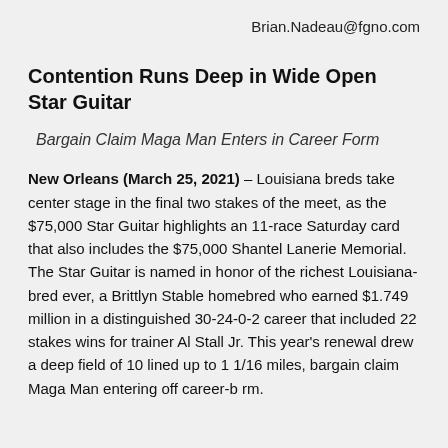Brian.Nadeau@fgno.com
Contention Runs Deep in Wide Open Star Guitar
Bargain Claim Maga Man Enters in Career Form
New Orleans (March 25, 2021) – Louisiana breds take center stage in the final two stakes of the meet, as the $75,000 Star Guitar highlights an 11-race Saturday card that also includes the $75,000 Shantel Lanerie Memorial. The Star Guitar is named in honor of the richest Louisiana-bred ever, a Brittlyn Stable homebred who earned $1.749 million in a distinguished 30-24-0-2 career that included 22 stakes wins for trainer Al Stall Jr. This year's renewal drew a deep field of 10 lined up to 1 1/16 miles, bargain claim Maga Man entering off career-b rm.